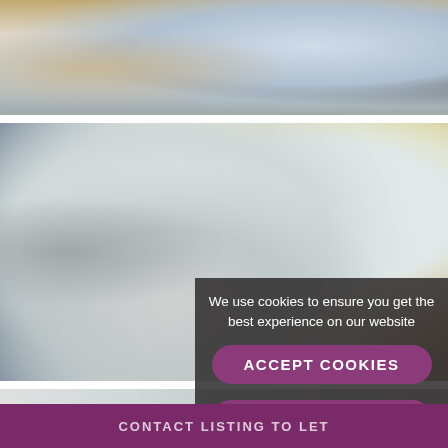[Figure (photo): Top strip showing a bedroom with a bed covered in light blue/white bedding and metal bed frame]
[Figure (photo): Main large photo of a bathroom with grey marble-look tiles, a bath/shower combo with glass panel, chrome shower head and fittings, large mirror with spotlights, and a wooden door on the right]
[Figure (photo): Bottom strip showing part of a bathroom with white fixtures]
We use cookies to ensure you get the best experience on our website
ACCEPT COOKIES
MORE INFO
CONTACT LISTING TO LET